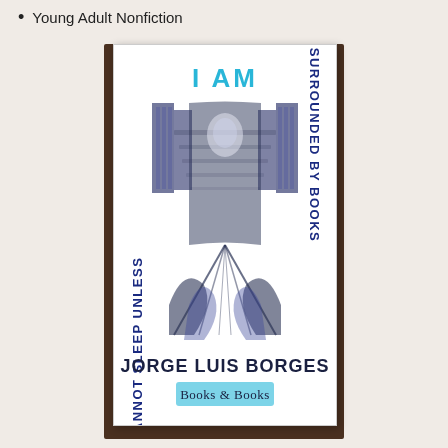Young Adult Nonfiction
[Figure (photo): Photo of a book cover. The cover is white with dark navy/blue woodcut-style illustration of a library corridor with towering bookshelves. Text on the cover reads: 'I AM' in cyan/teal at the top center; 'I CANNOT SLEEP UNLESS' rotated vertically on the left side in dark blue; 'SURROUNDED BY BOOKS' rotated vertically on the right side in dark blue; 'JORGE LUIS BORGES' in large bold dark navy at the bottom; and a light blue rectangle reading 'Books & Books' at the very bottom center. The book is photographed against a dark wooden background.]